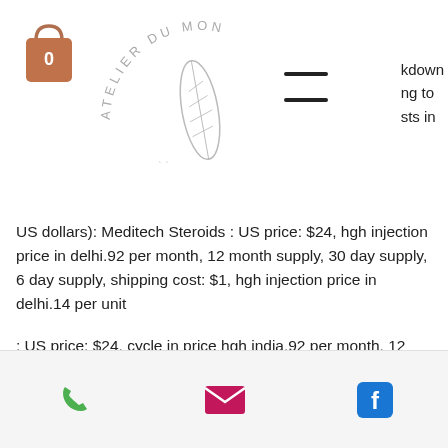[Figure (logo): Shopping bag icon with number 0 and Atelier Du Mon circular logo with leaf motif, plus hamburger menu icon]
kdown
ng to
sts in
US dollars): Meditech Steroids : US price: $24, hgh injection price in delhi.92 per month, 12 month supply, 30 day supply, 6 day supply, shipping cost: $1, hgh injection price in delhi.14 per unit
: US price: $24, cycle in price hgh india.92 per month, 12 month supply, 30 day supply, 6 day supply, shipping cost: $1, cycle in price hgh india.14 per unit Meditech Meds : US price: $14, cycle in price hgh india.30 per month, 12 month supply, 30 day supply, 6 day supply, shipping cost: $1, cycle in price hgh india.11 per unit
Phone | Email | Facebook icons